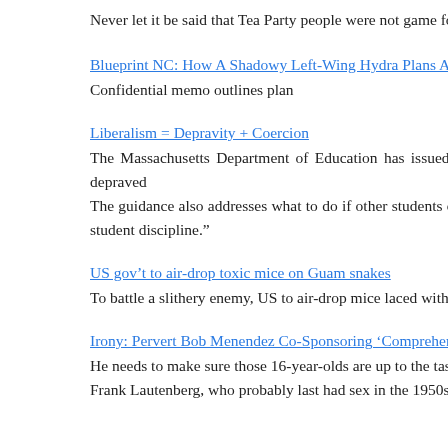Never let it be said that Tea Party people were not game for a ch
Blueprint NC: How A Shadowy Left-Wing Hydra Plans A Targe
Confidential memo outlines plan
Liberalism = Depravity + Coercion
The Massachusetts Department of Education has issued new students. Like the troubled children liberals encourage to wallo directives are depraved
The guidance also addresses what to do if other students con refer to a transgendered student by the name or sex they identif can be grounds for student discipline.”
US gov’t to air-drop toxic mice on Guam snakes
To battle a slithery enemy, US to air-drop mice laced with drugs
Irony: Pervert Bob Menendez Co-Sponsoring ‘Comprehensive’
He needs to make sure those 16-year-olds are up to the task.
Frank Lautenberg, who probably last had sex in the 1950s i